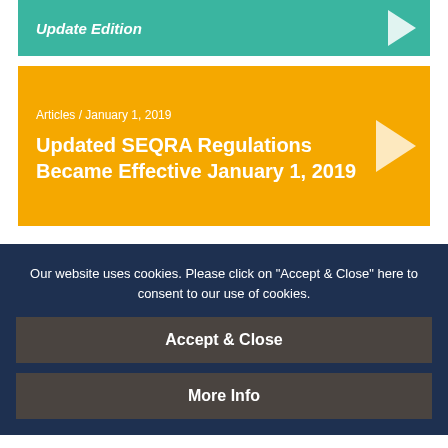Update Edition
Articles / January 1, 2019
Updated SEQRA Regulations Became Effective January 1, 2019
Our website uses cookies. Please click on "Accept & Close" here to consent to our use of cookies.
Accept & Close
More Info